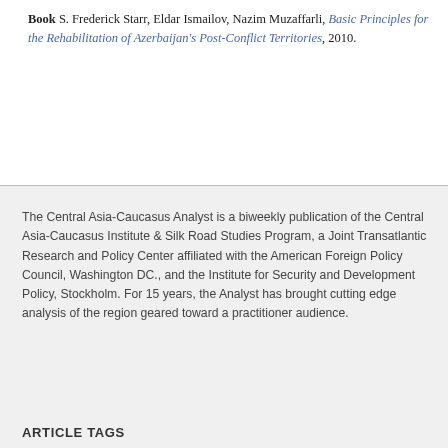Book S. Frederick Starr, Eldar Ismailov, Nazim Muzaffarli, Basic Principles for the Rehabilitation of Azerbaijan's Post-Conflict Territories, 2010.
The Central Asia-Caucasus Analyst is a biweekly publication of the Central Asia-Caucasus Institute & Silk Road Studies Program, a Joint Transatlantic Research and Policy Center affiliated with the American Foreign Policy Council, Washington DC., and the Institute for Security and Development Policy, Stockholm. For 15 years, the Analyst has brought cutting edge analysis of the region geared toward a practitioner audience.
ARTICLE TAGS